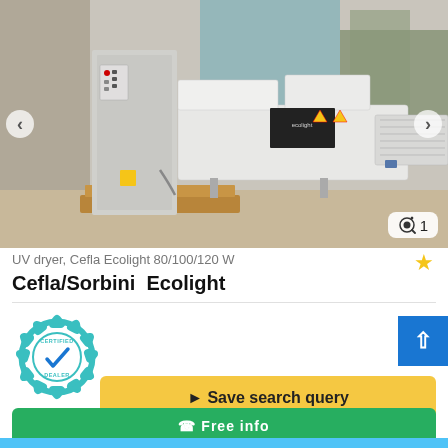[Figure (photo): UV dryer machine (Cefla Ecolight) in an industrial/warehouse setting. A large white industrial machine with a control cabinet on the left, conveyor-style dryer unit in the center, and various equipment in the background. Navigation arrows on left and right sides of the photo carousel.]
UV dryer, Cefla Ecolight 80/100/120 W
Cefla/Sorbini  Ecolight
[Figure (logo): Certified Dealer badge - circular teal/cyan gear-like badge with checkmark in center and text 'CERTIFIED' at top and 'DEALER' at bottom]
Save search query
Free info